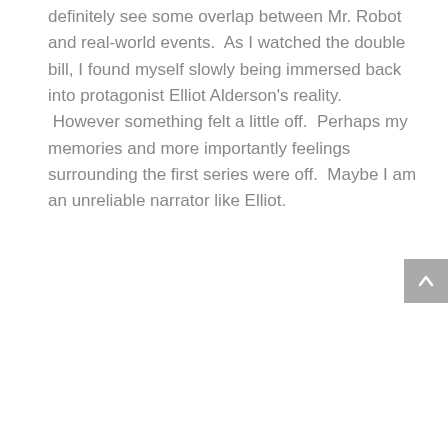definitely see some overlap between Mr. Robot and real-world events.  As I watched the double bill, I found myself slowly being immersed back into protagonist Elliot Alderson's reality.  However something felt a little off.  Perhaps my memories and more importantly feelings surrounding the first series were off.  Maybe I am an unreliable narrator like Elliot.